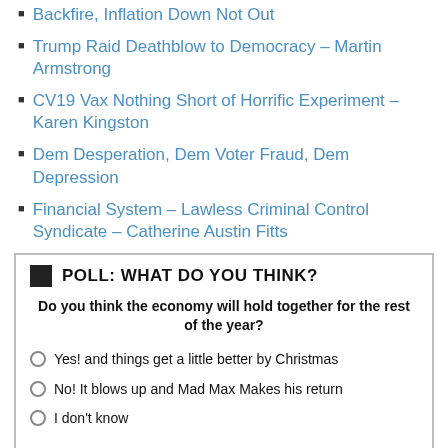Backfire, Inflation Down Not Out
Trump Raid Deathblow to Democracy – Martin Armstrong
CV19 Vax Nothing Short of Horrific Experiment – Karen Kingston
Dem Desperation, Dem Voter Fraud, Dem Depression
Financial System – Lawless Criminal Control Syndicate – Catherine Austin Fitts
| POLL: WHAT DO YOU THINK? |
| --- |
| Do you think the economy will hold together for the rest of the year? |
| Yes! and things get a little better by Christmas |
| No! It blows up and Mad Max Makes his return |
| I don't know |